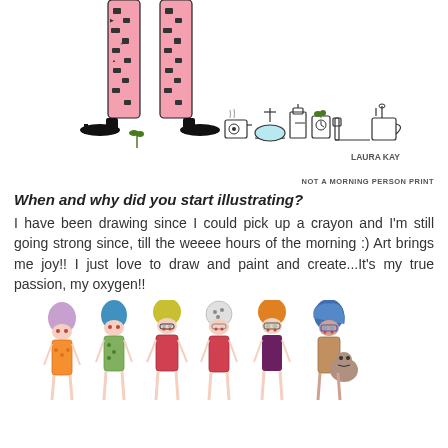[Figure (illustration): Hand-drawn illustration of stylized legs in pink patterned stockings and high heels on the left, with small sketches of morning items (coffee cup, bowl, juice, clock, toothbrush, mug) along the bottom, and 'LAURA KAY' text signature at bottom right]
NOT A MORNING PERSON PRINT
When and why did you start illustrating?
I have been drawing since I could pick up a crayon and I'm still going strong since, till the weeee hours of the morning :) Art brings me joy!! I just love to draw and paint and create...It's my true passion, my oxygen!!
[Figure (illustration): Hand-drawn illustration of seven stylized female figures in colorful swimsuits/dresses with decorative hairstyles and accessories, each with a distinct color palette]